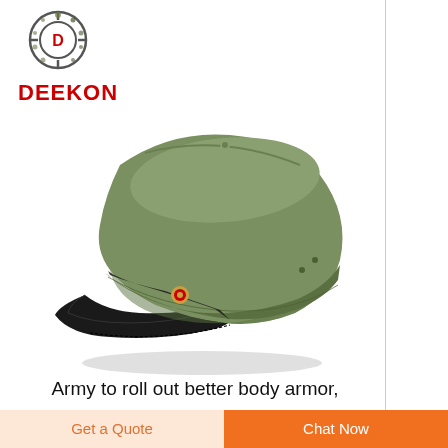[Figure (logo): DEEKON brand logo with circular crosshair emblem above bold red text DEEKON]
[Figure (photo): Military officer peaked cap in olive green with black patent leather visor and small red/gold badge on the front band, photographed on white background]
Army to roll out better body armor,
Get a Quote
Chat Now